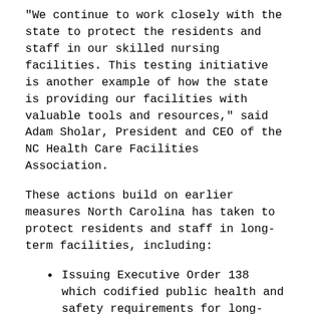"We continue to work closely with the state to protect the residents and staff in our skilled nursing facilities. This testing initiative is another example of how the state is providing our facilities with valuable tools and resources," said Adam Sholar, President and CEO of the NC Health Care Facilities Association.
These actions build on earlier measures North Carolina has taken to protect residents and staff in long-term facilities, including:
Issuing Executive Order 138 which codified public health and safety requirements for long-term care facilities, including requiring staff to wear surgical masks and screenings all staff and